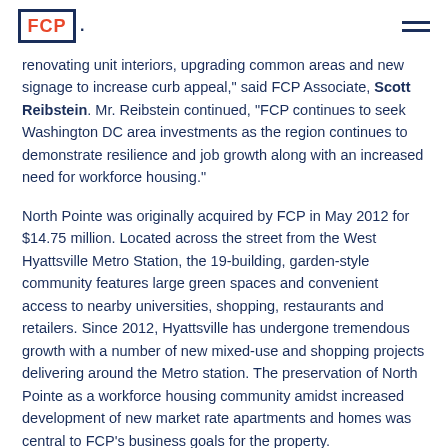FCP .
renovating unit interiors, upgrading common areas and new signage to increase curb appeal," said FCP Associate, Scott Reibstein. Mr. Reibstein continued, "FCP continues to seek Washington DC area investments as the region continues to demonstrate resilience and job growth along with an increased need for workforce housing."
North Pointe was originally acquired by FCP in May 2012 for $14.75 million. Located across the street from the West Hyattsville Metro Station, the 19-building, garden-style community features large green spaces and convenient access to nearby universities, shopping, restaurants and retailers. Since 2012, Hyattsville has undergone tremendous growth with a number of new mixed-use and shopping projects delivering around the Metro station. The preservation of North Pointe as a workforce housing community amidst increased development of new market rate apartments and homes was central to FCP's business goals for the property.
FCP extends its appreciation to Brian Margerum and the CBRE Mid-